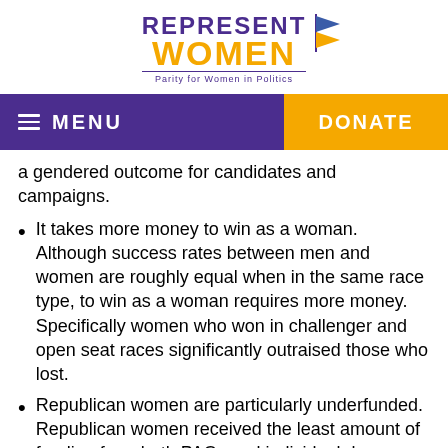[Figure (logo): RepresentWomen logo with purple 'REPRESENT' text, orange 'WOMEN' text, tagline 'Parity for Women in Politics', and a blue/orange flag graphic]
MENU  DONATE
a gendered outcome for candidates and campaigns.
It takes more money to win as a woman. Although success rates between men and women are roughly equal when in the same race type, to win as a woman requires more money. Specifically women who won in challenger and open seat races significantly outraised those who lost.
Republican women are particularly underfunded. Republican women received the least amount of funding from both PACs and individual donors. Additionally, while the